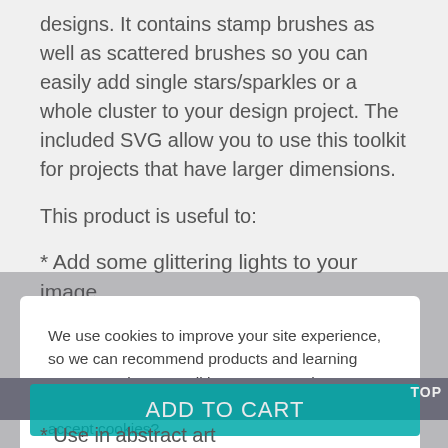designs. It contains stamp brushes as well as scattered brushes so you can easily add single stars/sparkles or a whole cluster to your design project. The included SVG allow you to use this toolkit for projects that have larger dimensions.
This product is useful to:
* Add some glittering lights to your image
We use cookies to improve your site experience, so we can recommend products and learning content we know you'll love! You can change cookie settings at any time. Are you happy to accept cookies?
Manage Cookie Preferences
Yes I'm Happy
* Use in abstract art